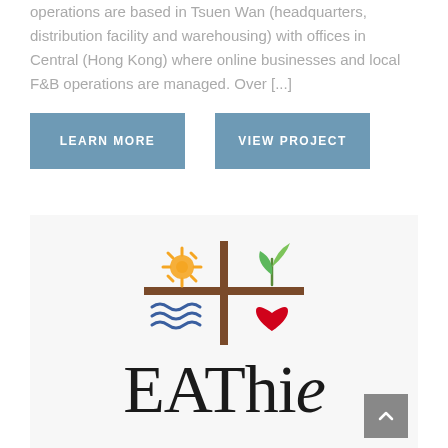operations are based in Tsuen Wan (headquarters, distribution facility and warehousing) with offices in Central (Hong Kong) where online businesses and local F&B operations are managed. Over [...]
LEARN MORE
VIEW PROJECT
[Figure (logo): EAThie logo with four quadrant symbols: sun (orange), plant leaves (green), waves (blue), heart (red), divided by a brown cross, with 'EAThie' text below in serif font]